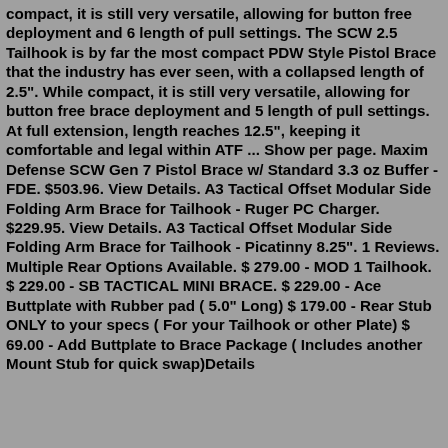compact, it is still very versatile, allowing for button free deployment and 6 length of pull settings. The SCW 2.5 Tailhook is by far the most compact PDW Style Pistol Brace that the industry has ever seen, with a collapsed length of 2.5". While compact, it is still very versatile, allowing for button free brace deployment and 5 length of pull settings. At full extension, length reaches 12.5", keeping it comfortable and legal within ATF ... Show per page. Maxim Defense SCW Gen 7 Pistol Brace w/ Standard 3.3 oz Buffer - FDE. $503.96. View Details. A3 Tactical Offset Modular Side Folding Arm Brace for Tailhook - Ruger PC Charger. $229.95. View Details. A3 Tactical Offset Modular Side Folding Arm Brace for Tailhook - Picatinny 8.25". 1 Reviews. Multiple Rear Options Available. $ 279.00 - MOD 1 Tailhook. $ 229.00 - SB TACTICAL MINI BRACE. $ 229.00 - Ace Buttplate with Rubber pad ( 5.0" Long) $ 179.00 - Rear Stub ONLY to your specs ( For your Tailhook or other Plate) $ 69.00 - Add Buttplate to Brace Package ( Includes another Mount Stub for quick swap)Details